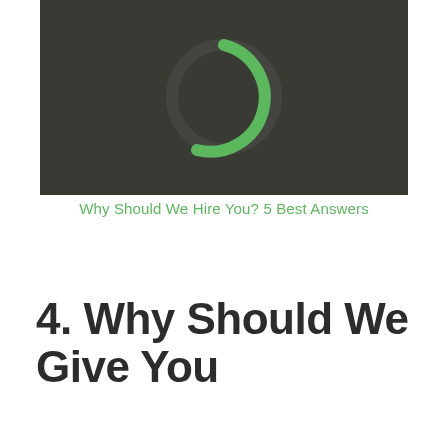[Figure (other): Dark background image with a green circular ring/loading spinner icon centered near the top]
Why Should We Hire You? 5 Best Answers
4. Why Should We Give You